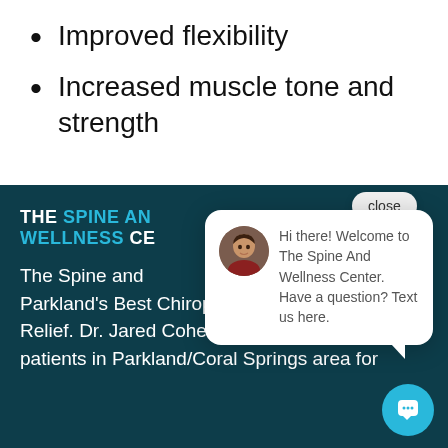Improved flexibility
Increased muscle tone and strength
[Figure (screenshot): Dark teal footer section with The Spine and Wellness Center logo, partial body text, and a chat popup overlay with avatar and welcome message, plus close button and chat widget button]
Hi there! Welcome to The Spine And Wellness Center. Have a question? Text us here.
The Spine and Parkland's Best Chiropractic Centers for Pain Relief. Dr. Jared Cohen has been treating patients in Parkland/Coral Springs area for